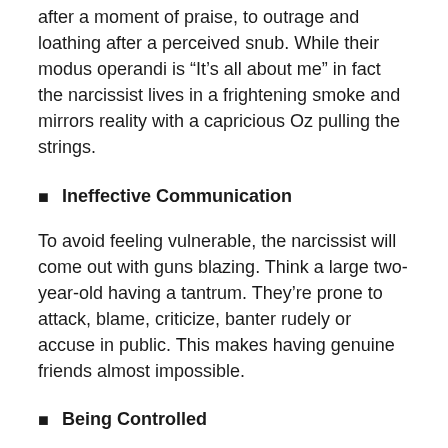after a moment of praise, to outrage and loathing after a perceived snub. While their modus operandi is “It’s all about me” in fact the narcissist lives in a frightening smoke and mirrors reality with a capricious Oz pulling the strings.
Ineffective Communication
To avoid feeling vulnerable, the narcissist will come out with guns blazing. Think a large two-year-old having a tantrum. They’re prone to attack, blame, criticize, banter rudely or accuse in public. This makes having genuine friends almost impossible.
Being Controlled
Understanding the narcissist is reliant on the external world for their internal reality, you’ll see why they need to control everything – timing, events, people, and finances.